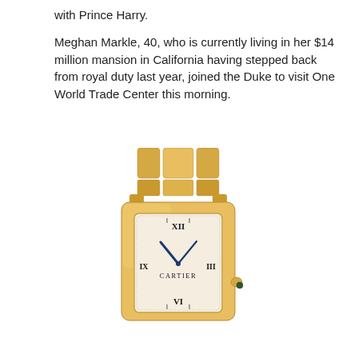with Prince Harry.

Meghan Markle, 40, who is currently living in her $14 million mansion in California having stepped back from royal duty last year, joined the Duke to visit One World Trade Center this morning.
[Figure (photo): A gold Cartier Tank Française watch with a rectangular dial showing Roman numerals, blue sword-shaped hands, and a gold bracelet strap, photographed against a white background.]